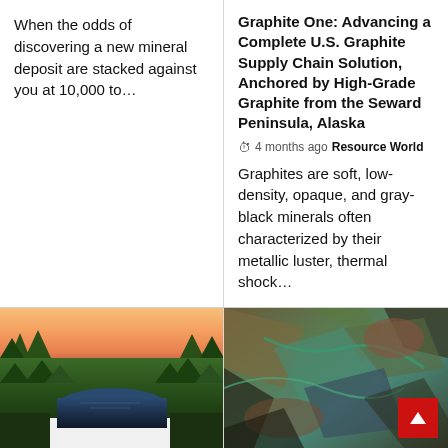When the odds of discovering a new mineral deposit are stacked against you at 10,000 to…
Graphite One: Advancing a Complete U.S. Graphite Supply Chain Solution, Anchored by High-Grade Graphite from the Seward Peninsula, Alaska
4 months ago  Resource World
Graphites are soft, low-density, opaque, and gray-black minerals often characterized by their metallic luster, thermal shock…
[Figure (photo): Aerial photo of a river winding through dense boreal forest at sunset/dusk with warm orange sky]
[Figure (photo): Close-up photo of green and blue-tinted mineral rock with metallic and oxidized surfaces, with a red back-to-top button overlay]